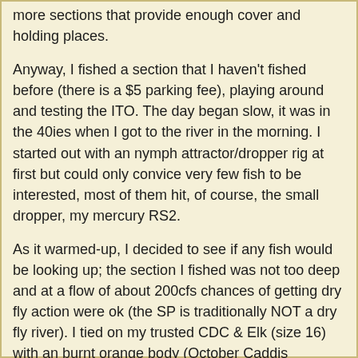more sections that provide enough cover and holding places.
Anyway, I fished a section that I haven't fished before (there is a $5 parking fee), playing around and testing the ITO. The day began slow, it was in the 40ies when I got to the river in the morning. I started out with an nymph attractor/dropper rig at first but could only convice very few fish to be interested, most of them hit, of course, the small dropper, my mercury RS2.
As it warmed-up, I decided to see if any fish would be looking up; the section I fished was not too deep and at a flow of about 200cfs chances of getting dry fly action were ok (the SP is traditionally NOT a dry fly river). I tied on my trusted CDC & Elk (size 16) with an burnt orange body (October Caddis imitation) and soon I was able to entice a few fish to come up and take my fly. I was happy as a little kid in a candy store (well, I am always happy when I am actually able to get out fishing). The action was not overwhelming, but surprisingly steady. I focused on pocket water, eddies behind rocks and other structure such as trees, undercut banks etc. Basically any water that had